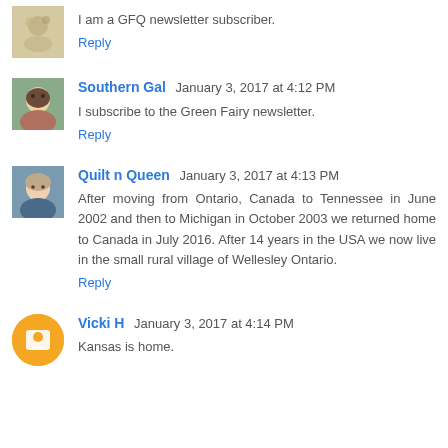I am a GFQ newsletter subscriber.
Reply
Southern Gal  January 3, 2017 at 4:12 PM
I subscribe to the Green Fairy newsletter.
Reply
Quilt n Queen  January 3, 2017 at 4:13 PM
After moving from Ontario, Canada to Tennessee in June 2002 and then to Michigan in October 2003 we returned home to Canada in July 2016. After 14 years in the USA we now live in the small rural village of Wellesley Ontario.
Reply
Vicki H  January 3, 2017 at 4:14 PM
Kansas is home.